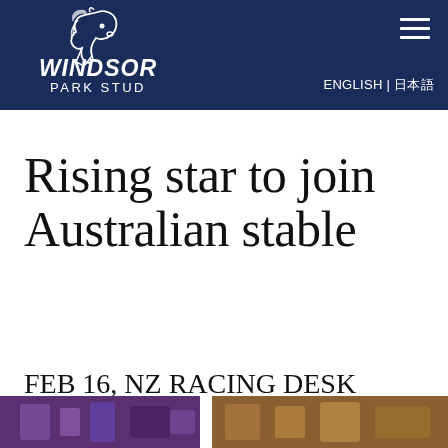[Figure (logo): Windsor Park Stud logo — white horse head illustration above italic text reading WINDSOR PARK STUD on a navy blue background]
ENGLISH | 日本語
Rising star to join Australian stable
FEB 16, NZ RACING DESK
[Figure (photo): Partial photo strip at bottom showing horse racing imagery with jockeys in colorful silks]